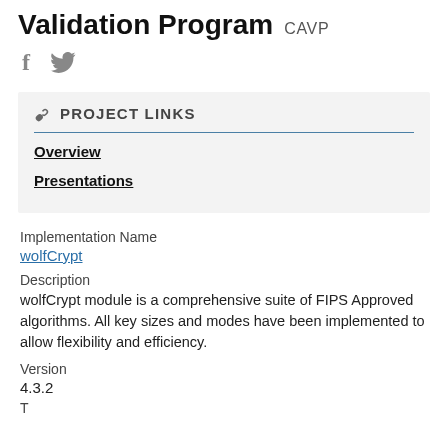Validation Program CAVP
[Figure (illustration): Social media icons: Facebook (f) and Twitter (bird) in gray]
PROJECT LINKS
Overview
Presentations
Implementation Name
wolfCrypt
Description
wolfCrypt module is a comprehensive suite of FIPS Approved algorithms. All key sizes and modes have been implemented to allow flexibility and efficiency.
Version
4.3.2
T